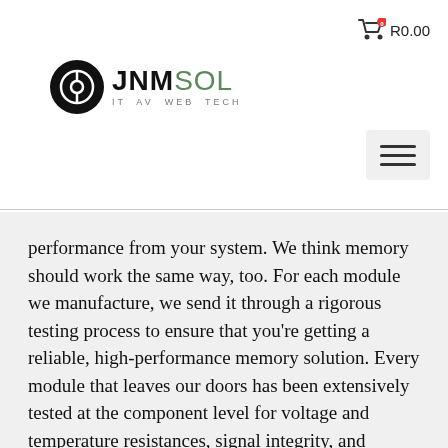JNMSOL IT AV WEB TECH — Cart R0.00
performance from your system. We think memory should work the same way, too. For each module we manufacture, we send it through a rigorous testing process to ensure that you're getting a reliable, high-performance memory solution. Every module that leaves our doors has been extensively tested at the component level for voltage and temperature resistances, signal integrity, and software compatibility. Even better, our modules are lead and halogen-free.
Support for Mac systems.
Unsure how to install memory or have an important question about your Apple system? Let our team of experts help! With